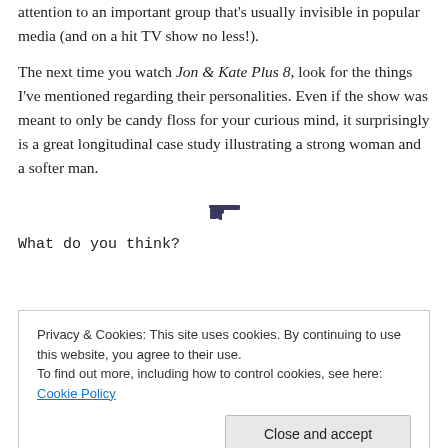attention to an important group that's usually invisible in popular media (and on a hit TV show no less!).
The next time you watch Jon & Kate Plus 8, look for the things I've mentioned regarding their personalities. Even if the show was meant to only be candy floss for your curious mind, it surprisingly is a great longitudinal case study illustrating a strong woman and a softer man.
[Figure (illustration): Small pistol/gun icon used as a decorative section divider]
What do you think?
Privacy & Cookies: This site uses cookies. By continuing to use this website, you agree to their use.
To find out more, including how to control cookies, see here: Cookie Policy